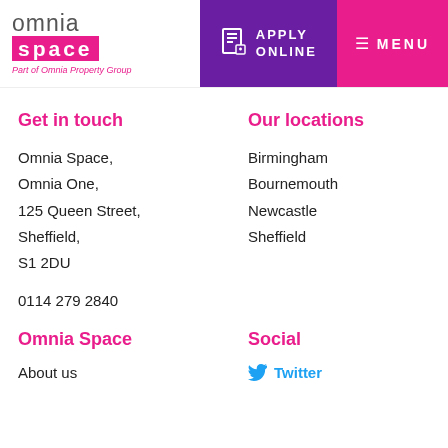[Figure (logo): Omnia Space logo with pink bar and tagline 'Part of Omnia Property Group']
[Figure (screenshot): Navigation bar with Apply Online button (purple) and Menu button (pink)]
Get in touch
Omnia Space,
Omnia One,
125 Queen Street,
Sheffield,
S1 2DU
0114 279 2840
Our locations
Birmingham
Bournemouth
Newcastle
Sheffield
Omnia Space
Social
About us
Twitter